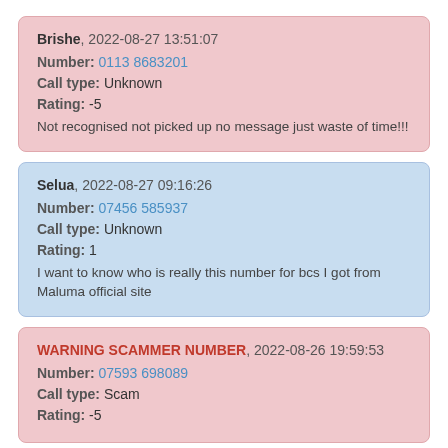Brishe, 2022-08-27 13:51:07
Number: 0113 8683201
Call type: Unknown
Rating: -5
Not recognised not picked up no message just waste of time!!!
Selua, 2022-08-27 09:16:26
Number: 07456 585937
Call type: Unknown
Rating: 1
I want to know who is really this number for bcs I got from Maluma official site
WARNING SCAMMER NUMBER, 2022-08-26 19:59:53
Number: 07593 698089
Call type: Scam
Rating: -5